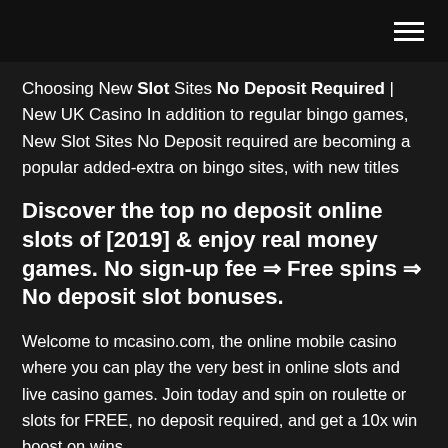[hamburger menu icon]
Choosing New Slot Sites No Deposit Required | New UK Casino In addition to regular bingo games, New Slot Sites No Deposit required are becoming a popular added-extra on bingo sites, with new titles
Discover the top no deposit online slots of [2019] & enjoy real money games. No sign-up fee ⇒ Free spins ⇒ No deposit slot bonuses.
Welcome to mcasino.com, the online mobile casino where you can play the very best in online slots and live casino games. Join today and spin on roulette or slots for FREE, no deposit required, and get a 10x win boost on wins.